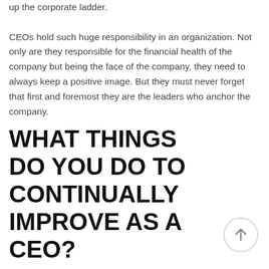up the corporate ladder. CEOs hold such huge responsibility in an organization. Not only are they responsible for the financial health of the company but being the face of the company, they need to always keep a positive image. But they must never forget that first and foremost they are the leaders who anchor the company.
WHAT THINGS DO YOU DO TO CONTINUALLY IMPROVE AS A CEO?
[Figure (other): Circular scroll-to-top button with an upward arrow icon]